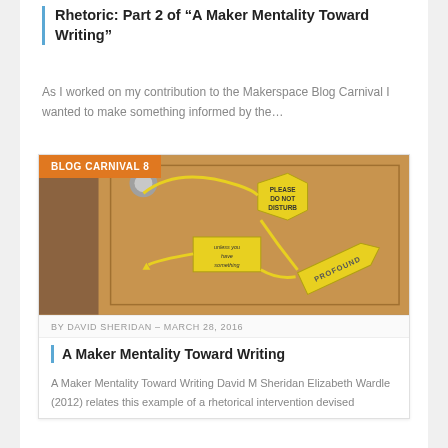Rhetoric: Part 2 of “A Maker Mentality Toward Writing”
As I worked on my contribution to the Makerspace Blog Carnival I wanted to make something informed by the…
[Figure (photo): Photo of a door with a yellow 'Please Do Not Disturb' sign made in maker/craft style, with arrows and additional text 'unless you have something' and 'PROFOUND'. Orange badge overlay reads 'BLOG CARNIVAL 8'.]
BY DAVID SHERIDAN – MARCH 28, 2016
A Maker Mentality Toward Writing
A Maker Mentality Toward Writing David M Sheridan Elizabeth Wardle (2012) relates this example of a rhetorical intervention devised